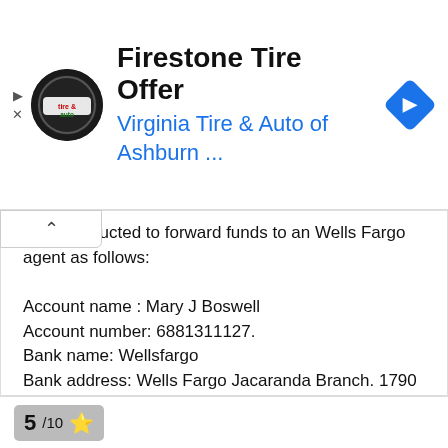[Figure (screenshot): Advertisement banner for Firestone Tire Offer by Virginia Tire & Auto of Ashburn with logo and navigation icon]
I was instructed to forward funds to an Wells Fargo agent as follows:

Account name : Mary J Boswell
Account number: 6881311127.
Bank name: Wellsfargo
Bank address: Wells Fargo Jacaranda Branch. 1790 N Pine Island Rd, Plantation, FL 33322.

Is Mary J Boswell an agent for Wells Fargo at the Jacaranda Branch?

I would appreciate a response, thank you.
5/10 ★